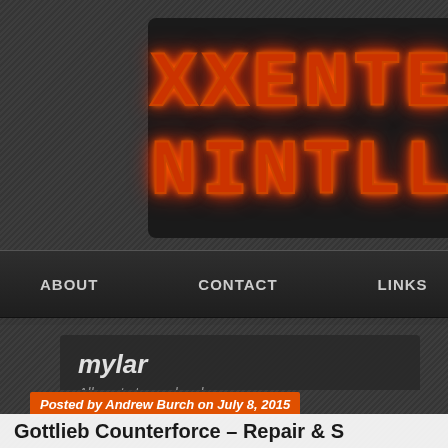[Figure (screenshot): LED-style digital display panel showing glowing orange segmented characters on dark background, partially visible text rows]
ABOUT   CONTACT   LINKS
mylar
All posts tagged mylar
Posted by Andrew Burch on July 8, 2015
Gottlieb Counterforce – Repair & S